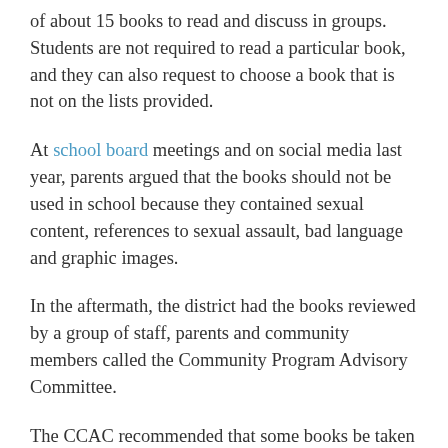of about 15 books to read and discuss in groups. Students are not required to read a particular book, and they can also request to choose a book that is not on the lists provided.
At school board meetings and on social media last year, parents argued that the books should not be used in school because they contained sexual content, references to sexual assault, bad language and graphic images.
In the aftermath, the district had the books reviewed by a group of staff, parents and community members called the Community Program Advisory Committee.
The CCAC recommended that some books be taken down for reasons such as sexual content, graphic violence and foul language.
This fall, the CCAC and those in charge of the program